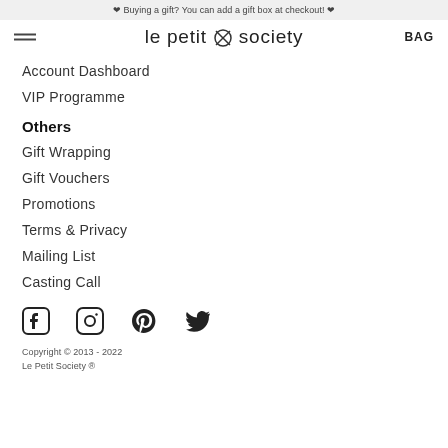❤ Buying a gift? You can add a gift box at checkout! ❤
le petit society
Account Dashboard
VIP Programme
Others
Gift Wrapping
Gift Vouchers
Promotions
Terms & Privacy
Mailing List
Casting Call
[Figure (logo): Social media icons: Facebook, Instagram, Pinterest, Twitter]
Copyright © 2013 - 2022
Le Petit Society ®